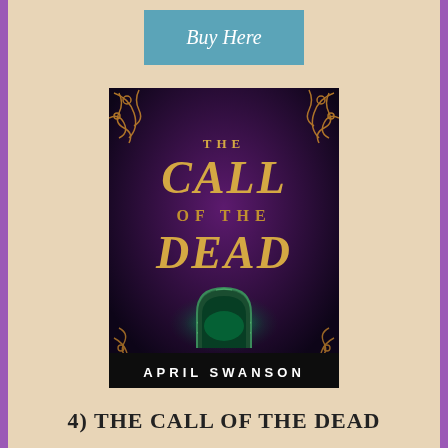Buy Here
[Figure (illustration): Book cover for 'The Call of the Dead' by April Swanson. Dark purple background with ornate golden scroll designs, gold text reading 'THE CALL OF THE DEAD', and a glowing green stone archway at the bottom. Author name 'APRIL SWANSON' in white text at the bottom.]
4) THE CALL OF THE DEAD